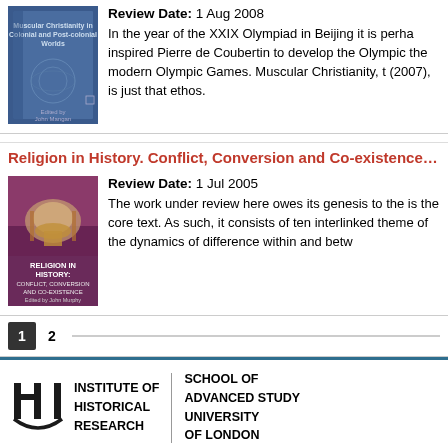Review Date: 1 Aug 2008
In the year of the XXIX Olympiad in Beijing it is perhaps inspired Pierre de Coubertin to develop the Olympic the modern Olympic Games. Muscular Christianity, t (2007), is just that ethos.
Religion in History. Conflict, Conversion and Co-existence / John W
[Figure (illustration): Book cover of Religion in History: Conflict, Conversion and Co-existence]
Review Date: 1 Jul 2005
The work under review here owes its genesis to the is the core text. As such, it consists of ten interlinked theme of the dynamics of difference within and betw
1
2
INSTITUTE OF HISTORICAL RESEARCH | SCHOOL OF ADVANCED STUDY UNIVERSITY OF LONDON